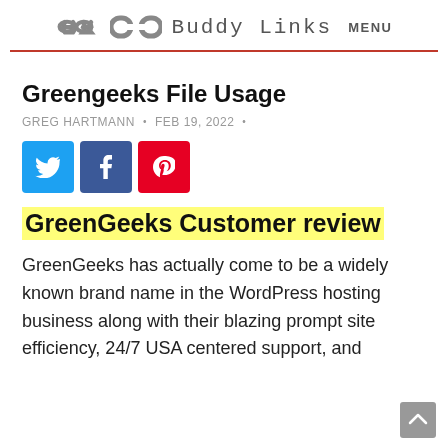Buddy Links  MENU
Greengeeks File Usage
GREG HARTMANN • FEB 19, 2022 •
[Figure (infographic): Social share buttons: Twitter (blue), Facebook (dark blue), Pinterest (red)]
GreenGeeks Customer review
GreenGeeks has actually come to be a widely known brand name in the WordPress hosting business along with their blazing prompt site efficiency, 24/7 USA centered support, and